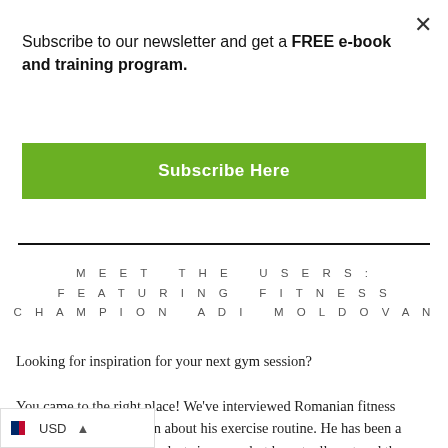×
Subscribe to our newsletter and get a FREE e-book and training program.
Subscribe Here
MEET THE USERS: FEATURING FITNESS CHAMPION ADI MOLDOVAN
Looking for inspiration for your next gym session?
You came to the right place! We've interviewed Romanian fitness champion Adi Moldovan about his exercise routine. He has been a regular at the gym for the last six years, but he actually entered the sports world at the age of three with gymnastics continuing with football and later martial arts for six years.
USD